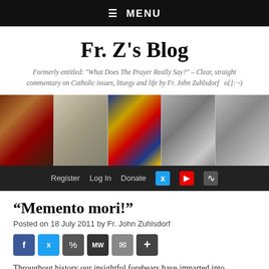☰  MENU
Fr. Z's Blog
Formerly entitled: "What Does The Prayer Really Say?" – Clear, straight commentary on Catholic issues, liturgy and life by Fr. John Zuhlsdorf   o{]:¬)
[Figure (photo): Banner strip of five images: papal portrait painting, old document page, papal coat of arms, silver medal with pope profile, silver medal with figures]
Register   Log In   Donate   [Twitter] [YouTube] [RSS]
“Memento mori!”
Posted on 18 July 2011 by Fr. John Zuhlsdorf
[Figure (infographic): Social sharing buttons: Facebook, Twitter, Share, MW, Email, Plus]
Throughout history our insightful forebears have imparted into